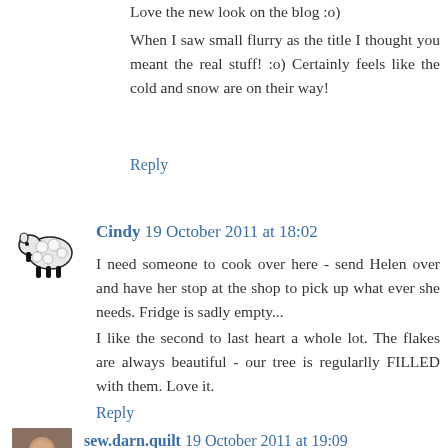Love the new look on the blog :o)
When I saw small flurry as the title I thought you meant the real stuff! :o) Certainly feels like the cold and snow are on their way!
Reply
[Figure (illustration): Small cartoon sheep avatar, black and white line drawing]
Cindy 19 October 2011 at 18:02
I need someone to cook over here - send Helen over and have her stop at the shop to pick up what ever she needs. Fridge is sadly empty...
I like the second to last heart a whole lot. The flakes are always beautiful - our tree is regularlly FILLED with them. Love it.
Reply
[Figure (photo): Small square photo avatar of a person]
sew.darn.quilt 19 October 2011 at 19:09
I wish I could get the hang of crocheting, my Mom tried, oh